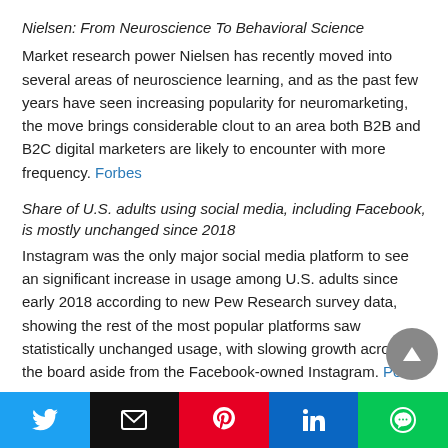Nielsen: From Neuroscience To Behavioral Science
Market research power Nielsen has recently moved into several areas of neuroscience learning, and as the past few years have seen increasing popularity for neuromarketing, the move brings considerable clout to an area both B2B and B2C digital marketers are likely to encounter with more frequency. Forbes
Share of U.S. adults using social media, including Facebook, is mostly unchanged since 2018
Instagram was the only major social media platform to see an significant increase in usage among U.S. adults since early 2018 according to new Pew Research survey data, showing the rest of the most popular platforms saw statistically unchanged usage, with slowing growth across the board aside from the Facebook-owned Instagram. Pew